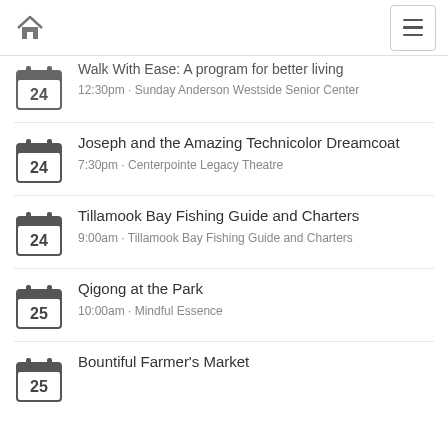Home navigation and menu
Walk With Ease: A program for better living
12:30pm · Sunday Anderson Westside Senior Center
Joseph and the Amazing Technicolor Dreamcoat
7:30pm · Centerpointe Legacy Theatre
Tillamook Bay Fishing Guide and Charters
9:00am · Tillamook Bay Fishing Guide and Charters
Qigong at the Park
10:00am · Mindful Essence
Bountiful Farmer's Market